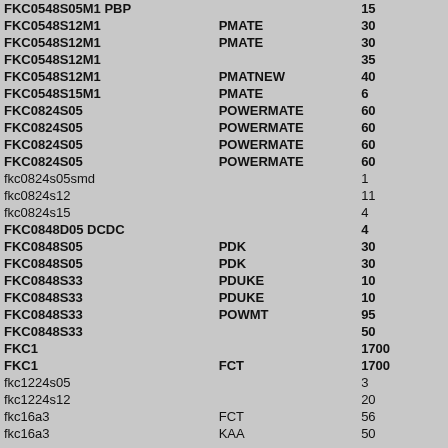| Part Number | Series | Value |
| --- | --- | --- |
| FKC0548S05M1 PBP |  | 15 |
| FKC0548S12M1 | PMATE | 30 |
| FKC0548S12M1 | PMATE | 30 |
| FKC0548S12M1 |  | 35 |
| FKC0548S12M1 | PMATNEW | 40 |
| FKC0548S15M1 | PMATE | 6 |
| FKC0824S05 | POWERMATE | 60 |
| FKC0824S05 | POWERMATE | 60 |
| FKC0824S05 | POWERMATE | 60 |
| FKC0824S05 | POWERMATE | 60 |
| fkc0824s05smd |  | 1 |
| fkc0824s12 |  | 11 |
| fkc0824s15 |  | 4 |
| FKC0848D05 DCDC |  | 4 |
| FKC0848S05 | PDK | 30 |
| FKC0848S05 | PDK | 30 |
| FKC0848S33 | PDUKE | 10 |
| FKC0848S33 | PDUKE | 10 |
| FKC0848S33 | POWMT | 95 |
| FKC0848S33 |  | 50 |
| FKC1 |  | 1700 |
| FKC1 | FCT | 1700 |
| fkc1224s05 |  | 3 |
| fkc1224s12 |  | 20 |
| fkc16a3 | FCT | 56 |
| fkc16a3 | KAA | 50 |